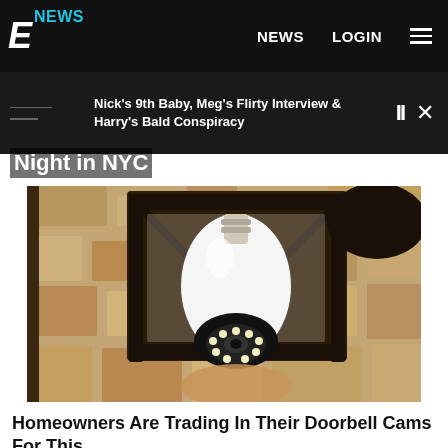E! NEWS — NEWS  LOGIN  ≡
Nick's 9th Baby, Meg's Flirty Interview & Harry's Bald Conspiracy
Night in NYC
[Figure (photo): A security camera shaped like a light bulb installed inside a black outdoor lantern fixture mounted on a textured stone wall.]
Homeowners Are Trading In Their Doorbell Cams For This